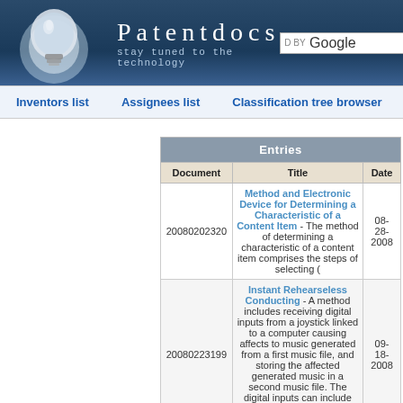Patentdocs — stay tuned to the technology
Inventors list | Assignees list | Classification tree browser
| Document | Title | Date |
| --- | --- | --- |
| 20080202320 | Method and Electronic Device for Determining a Characteristic of a Content Item - The method of determining a characteristic of a content item comprises the steps of selecting ( | 08-28-2008 |
| 20080223199 | Instant Rehearseless Conducting - A method includes receiving digital inputs from a joystick linked to a computer causing affects to music generated from a first music file, and storing the affected generated music in a second music file. The digital inputs can include movements resulting positioning the joystick. | 09-18-2008 |
|  | Melody Encoding and Searching System - An input sequence of musical notes is converted to a melodic contour by detecting note interval changes, e.g., in semitones, between consecutive musical notes in the sequence and mapping the |  |